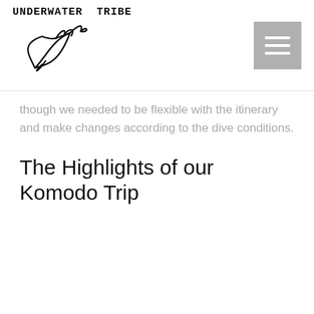Underwater Tribe
though we needed to be flexible with the itinerary and make changes according to the dive conditions.
The Highlights of our Komodo Trip